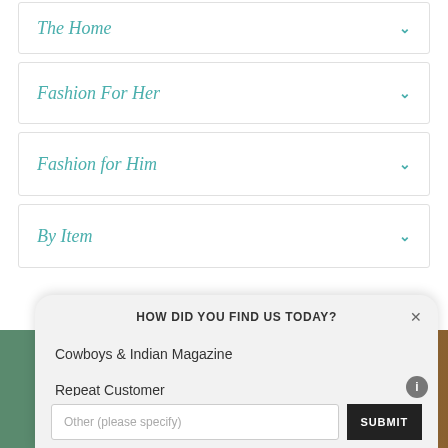The Home
Fashion For Her
Fashion for Him
By Item
HOW DID YOU FIND US TODAY?
Cowboys & Indian Magazine
Repeat Customer
Facebook Ad
Other (please specify)
SUBMIT